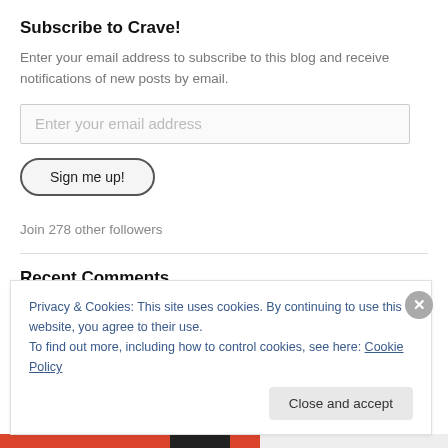Subscribe to Crave!
Enter your email address to subscribe to this blog and receive notifications of new posts by email.
Enter your email address
Sign me up!
Join 278 other followers
Recent Comments
Privacy & Cookies: This site uses cookies. By continuing to use this website, you agree to their use.
To find out more, including how to control cookies, see here: Cookie Policy
Close and accept